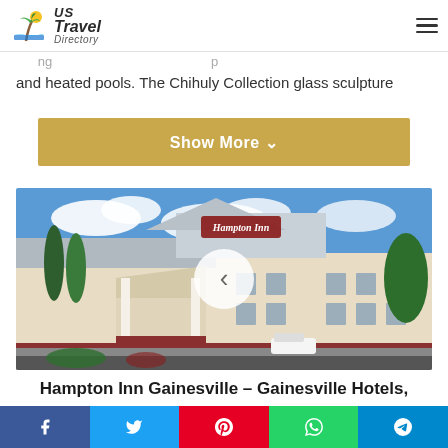US Travel Directory
and heated pools. The Chihuly Collection glass sculpture
[clipped line above]
Show More ▾
[Figure (photo): Hampton Inn hotel exterior with front entrance canopy, red brick accents, tall cypress trees, and Hampton Inn signage on the gabled roof. A navigation arrow overlay (back/previous) appears centered on the image.]
Hampton Inn Gainesville - Gainesville Hotels,
Social share buttons: Facebook, Twitter, Pinterest, WhatsApp, Telegram